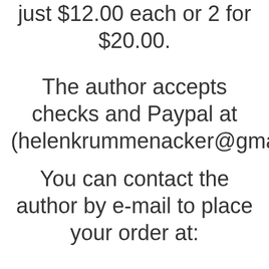just $12.00 each or 2 for $20.00.
The author accepts checks and Paypal at (helenkrummenacker@gmail.co
You can contact the author by e-mail to place your order at: